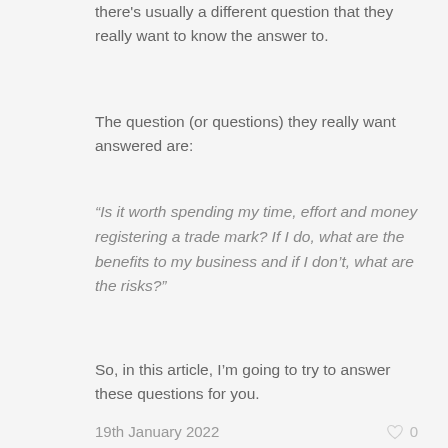there's usually a different question that they really want to know the answer to.
The question (or questions) they really want answered are:
“Is it worth spending my time, effort and money registering a trade mark? If I do, what are the benefits to my business and if I don’t, what are the risks?”
So, in this article, I’m going to try to answer these questions for you.
19th January 2022   ♡ 0